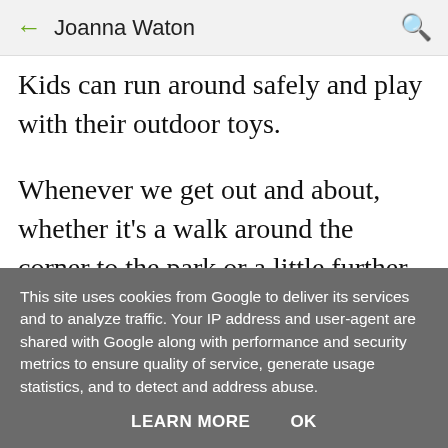← Joanna Waton 🔍
Kids can run around safely and play with their outdoor toys.
Whenever we get out and about, whether it's a walk around the corner to the park or a little further afield, there are always questions. Although I wholeheartedly encourage the asking
This site uses cookies from Google to deliver its services and to analyze traffic. Your IP address and user-agent are shared with Google along with performance and security metrics to ensure quality of service, generate usage statistics, and to detect and address abuse.
LEARN MORE   OK